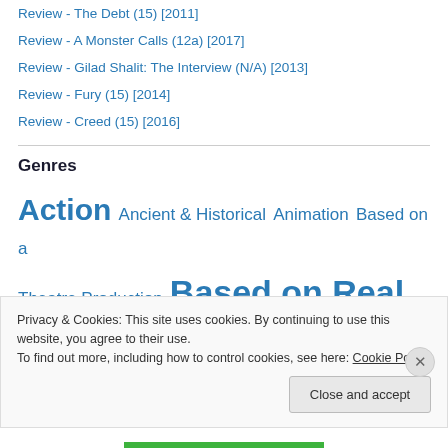Review - The Debt (15) [2011]
Review - A Monster Calls (12a) [2017]
Review - Gilad Shalit: The Interview (N/A) [2013]
Review - Fury (15) [2014]
Review - Creed (15) [2016]
Genres
Action  Ancient & Historical  Animation  Based on a Theatre Production  Based on Real Events  biopic
Privacy & Cookies: This site uses cookies. By continuing to use this website, you agree to their use.
To find out more, including how to control cookies, see here: Cookie Policy
Close and accept